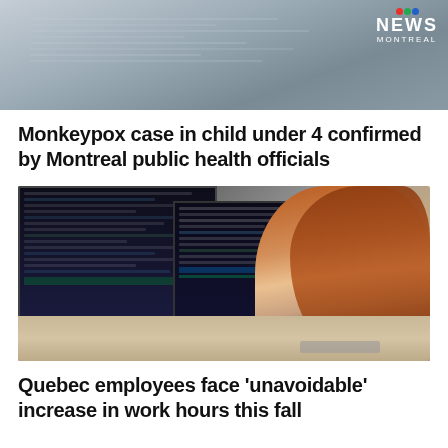[Figure (photo): Top portion of a news webpage showing a monkeypox-related image with a medical/microscopy screen, with CTV News Montreal logo in the top right corner]
Monkeypox case in child under 4 confirmed by Montreal public health officials
[Figure (photo): A young woman with long red hair sitting at a desk looking at multiple computer monitors displaying code, in an office environment]
Quebec employees face 'unavoidable' increase in work hours this fall